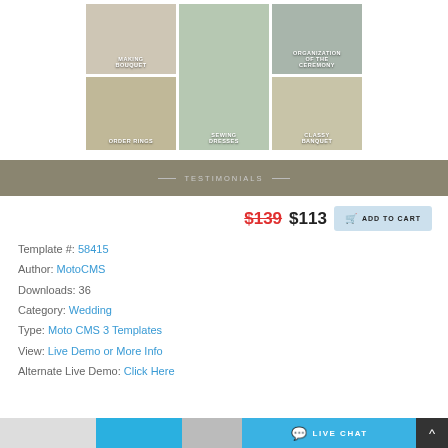[Figure (photo): Wedding photo grid with 5 images: Making Bouquet, center tall image of bride with bouquet, Organization of the Ceremony, Order Rings, Sewing Dresses, Classy Banquet]
TESTIMONIALS
$139 $113 ADD TO CART
Template #: 58415
Author: MotoCMS
Downloads: 36
Category: Wedding
Type: Moto CMS 3 Templates
View: Live Demo or More Info
Alternate Live Demo: Click Here
LIVE CHAT